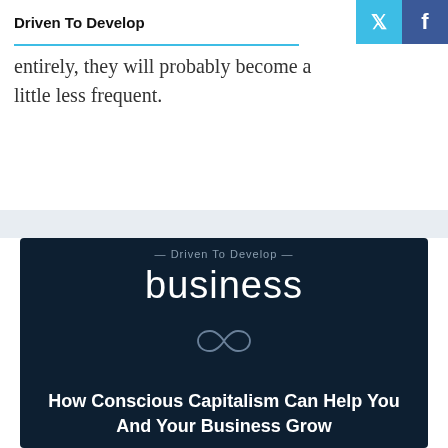Driven To Develop
up on my late-night online so entirely, they will probably become a little less frequent.
[Figure (infographic): Dark navy card with 'Driven To Develop' tagline, 'business' category heading, infinity symbol, and article title 'How Conscious Capitalism Can Help You And Your Business Grow']
How Conscious Capitalism Can Help You And Your Business Grow